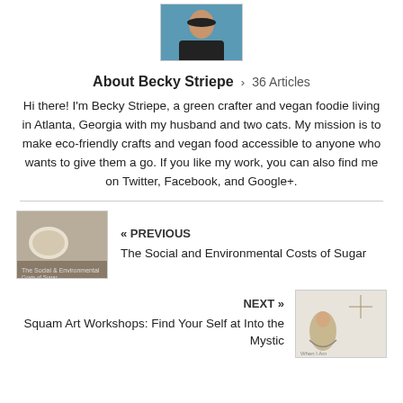[Figure (photo): Author photo of Becky Striepe, a person shown from shoulders up against a teal/blue background]
About Becky Striepe > 36 Articles
Hi there! I'm Becky Striepe, a green crafter and vegan foodie living in Atlanta, Georgia with my husband and two cats. My mission is to make eco-friendly crafts and vegan food accessible to anyone who wants to give them a go. If you like my work, you can also find me on Twitter, Facebook, and Google+.
[Figure (photo): Thumbnail image for previous article about Social and Environmental Costs of Sugar, showing what appears to be cashews or nuts in a bowl]
« PREVIOUS
The Social and Environmental Costs of Sugar
NEXT »
Squam Art Workshops: Find Your Self at Into the Mystic
[Figure (photo): Thumbnail image for next article about Squam Art Workshops, showing a hand-drawn illustration of a person and decorative elements]